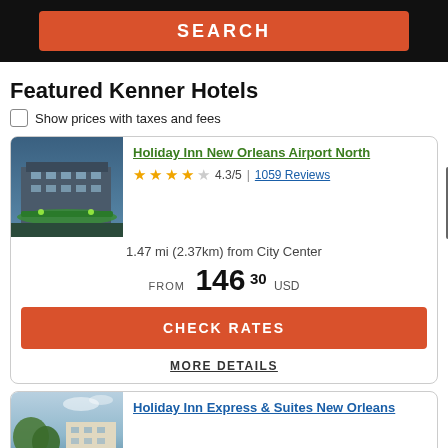[Figure (screenshot): Search button on dark background header]
Featured Kenner Hotels
Show prices with taxes and fees
[Figure (photo): Holiday Inn New Orleans Airport North hotel exterior at night with green canopy lighting]
Holiday Inn New Orleans Airport North
4.3/5 | 1059 Reviews
1.47 mi (2.37km) from City Center
FROM 146 30 USD
CHECK RATES
MORE DETAILS
[Figure (photo): Holiday Inn Express & Suites New Orleans hotel exterior with trees]
Holiday Inn Express & Suites New Orleans